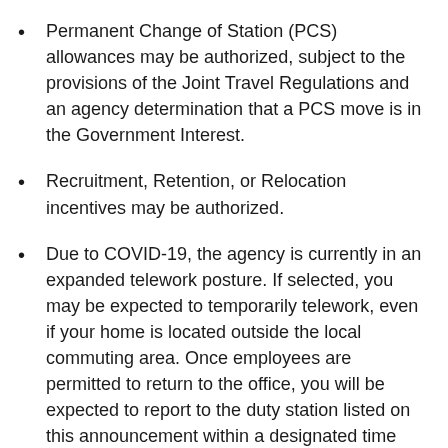Permanent Change of Station (PCS) allowances may be authorized, subject to the provisions of the Joint Travel Regulations and an agency determination that a PCS move is in the Government Interest.
Recruitment, Retention, or Relocation incentives may be authorized.
Due to COVID-19, the agency is currently in an expanded telework posture. If selected, you may be expected to temporarily telework, even if your home is located outside the local commuting area. Once employees are permitted to return to the office, you will be expected to report to the duty station listed on this announcement within a designated time frame identified by the organization. At that time, you may be eligible to request to continue to telework one or more days a